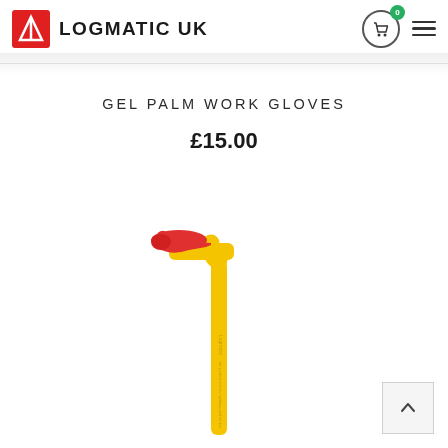LOGMATIC UK
GEL PALM WORK GLOVES
£15.00
[Figure (photo): A yellow L-shaped log splitter tool with a red rubber grip handle at the top, shown against a white background. The tool is long and narrow with branding text along the yellow shaft.]